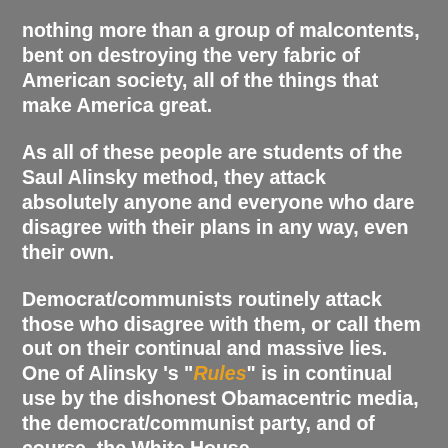nothing more than a group of malcontents, bent on destroying the very fabric of American society, all of the things that make America great.
As all of these people are students of the Saul Alinsky method, they attack absolutely anyone and everyone who dare disagree with their plans in any way, even their own.
Democrat/communists routinely attack those who disagree with them, or call them out on their continual and massive lies. One of Alinsky 's "Rules" is in continual use by the dishonest Obamacentric media, the democrat/communist party, and of course, the White House.